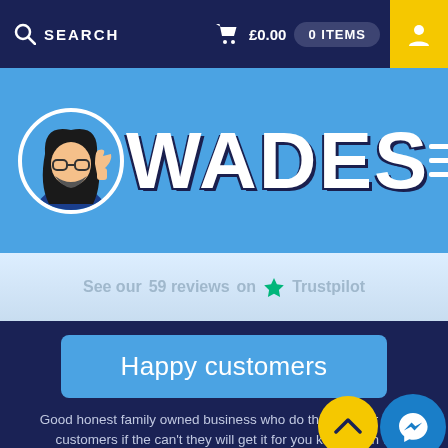SEARCH  £0.00  0 ITEMS
[Figure (logo): WADES logo with mascot character on blue background with hamburger menu icon]
See our 59 reviews on Trustpilot
Happy customers
Good honest family owned business who do they can for their customers if the can't they will get it for you keep up th w